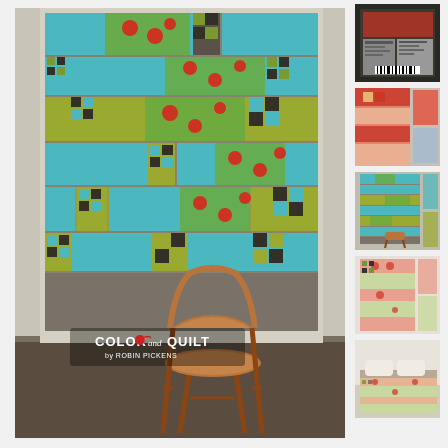[Figure (photo): Main product image showing a large colorful quilt hung on a wall above a wooden chair. The quilt features blocks in teal, green, gold, gray, and floral patterns. A 'Color and Quilt by Robin Pickens' logo appears on the lower portion of the image.]
[Figure (photo): Thumbnail 1: Back of quilt pattern packaging showing pattern instructions, text, and barcode.]
[Figure (photo): Thumbnail 2: Alternate quilt colorway in red/coral tones with a similar block pattern.]
[Figure (photo): Thumbnail 3: Another view of the main teal/green quilt hung on a wall with chair.]
[Figure (photo): Thumbnail 4: Flat lay of quilt pattern showing the full design layout in green and pink tones.]
[Figure (photo): Thumbnail 5: Quilt draped over a bed in a bedroom setting in soft green/neutral tones.]